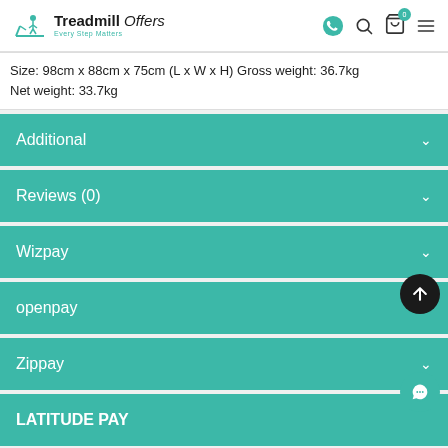Treadmill Offers — Every Step Matters
Size: 98cm x 88cm x 75cm (L x W x H) Gross weight: 36.7kg Net weight: 33.7kg
Additional
Reviews (0)
Wizpay
openpay
Zippay
LATITUDE PAY